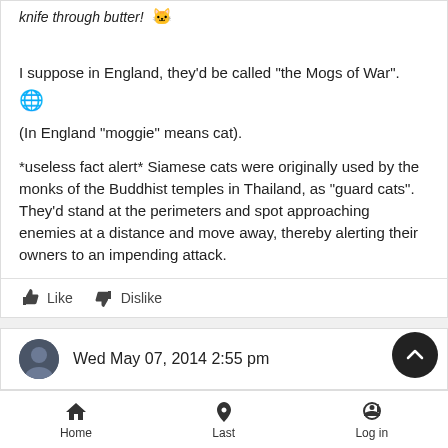knife through butter! 😺
I suppose in England, they'd be called "the Mogs of War". 🌐
(In England "moggie" means cat).
*useless fact alert* Siamese cats were originally used by the monks of the Buddhist temples in Thailand, as "guard cats". They'd stand at the perimeters and spot approaching enemies at a distance and move away, thereby alerting their owners to an impending attack.
Like   Dislike
Wed May 07, 2014 2:55 pm
Home   Last   Log in